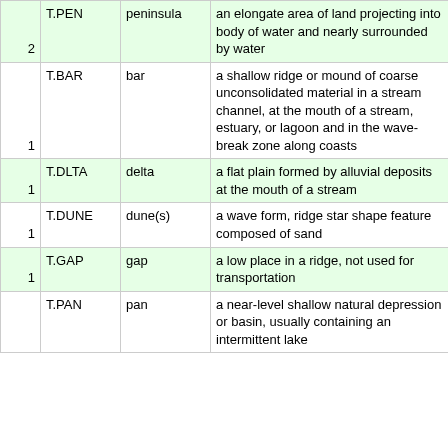|  | Code | Term | Definition |
| --- | --- | --- | --- |
| 2 | T.PEN | peninsula | an elongate area of land projecting into body of water and nearly surrounded by water |
| 1 | T.BAR | bar | a shallow ridge or mound of coarse unconsolidated material in a stream channel, at the mouth of a stream, estuary, or lagoon and in the wave-break zone along coasts |
| 1 | T.DLTA | delta | a flat plain formed by alluvial deposits at the mouth of a stream |
| 1 | T.DUNE | dune(s) | a wave form, ridge star shape feature composed of sand |
| 1 | T.GAP | gap | a low place in a ridge, not used for transportation |
| 1 | T.PAN | pan | a near-level shallow natural depression or basin, usually containing an intermittent lake |